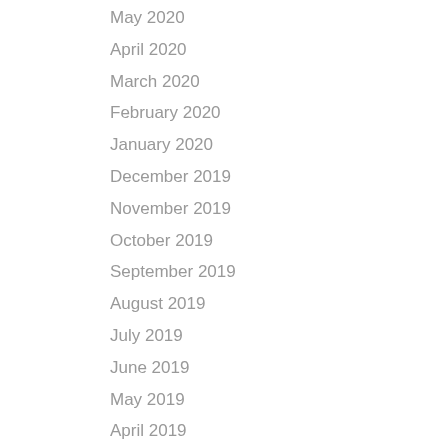May 2020
April 2020
March 2020
February 2020
January 2020
December 2019
November 2019
October 2019
September 2019
August 2019
July 2019
June 2019
May 2019
April 2019
March 2019